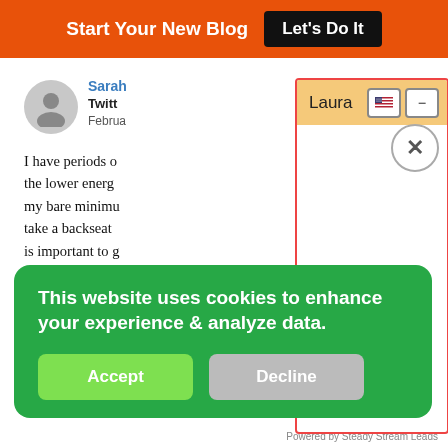Start Your New Blog  Let's Do It
Sarah
Twitt
Februa
I have periods o the lower energ my bare minimu take a backseat is important to g
I dig Derek's co
[Figure (screenshot): Laura dialog popup with orange header, US flag icon, minus button, and X close button]
This website uses cookies to enhance your experience & analyze data.
Accept
Decline
Powered by Steady Stream Leads
takeaway, or my